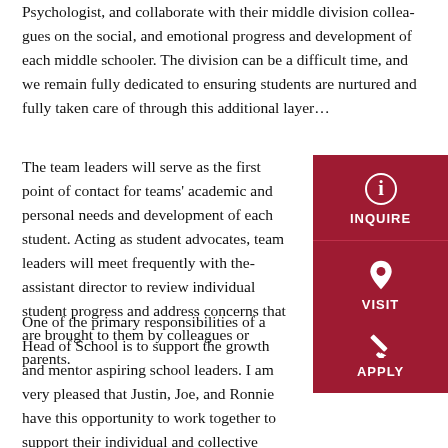Psychologist, and collaborate with their middle division colleagues on the social, and emotional progress and development of each middle schooler. The division can be a difficult time, and we remain fully dedicated to ensuring students are nurtured and fully taken care of through this additional layer...
The team leaders will serve as the first point of contact for teams' academic and personal needs and development of each student. Acting as student advocates, team leaders will meet frequently with the middle division assistant director to review individual student progress and address concerns that are brought to them by colleagues or parents.
[Figure (infographic): Dark red sidebar with INQUIRE button (info icon) and VISIT button (location pin icon)]
One of the primary responsibilities of a Head of School is to support the growth and mentor aspiring school leaders. I am very pleased that Justin, Joe, and Ronnie have this opportunity to work together to support and grow their individual and collective leadership potential. All of them...
[Figure (infographic): Dark red sidebar APPLY button with pencil icon]